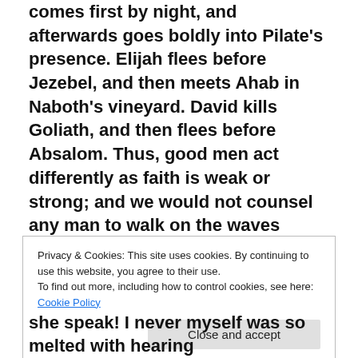comes first by night, and afterwards goes boldly into Pilate's presence. Elijah flees before Jezebel, and then meets Ahab in Naboth's vineyard. David kills Goliath, and then flees before Absalom. Thus, good men act differently as faith is weak or strong; and we would not counsel any man to walk on the waves unless we knew he had Peter's Master near, and Peter's faith in exercise. Thus I feel slow to offer advice, or give counsel in this painful and difficult matter. We feel, however, encouraged to hope the Lord will appear for her from the promise He has given her.
Privacy & Cookies: This site uses cookies. By continuing to use this website, you agree to their use.
To find out more, including how to control cookies, see here: Cookie Policy
Close and accept
she speak! I never myself was so melted with hearing